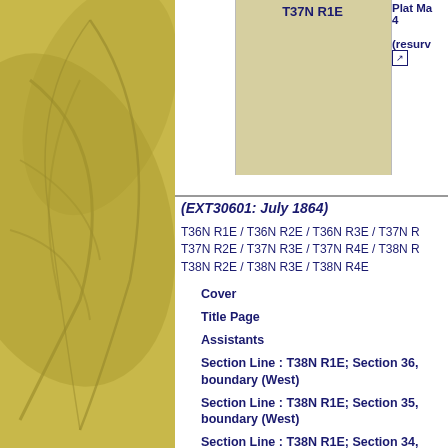[Figure (illustration): Golden/olive colored decorative leaf pattern on left panel background]
T37N R1E
Plat Map 4 (resurv...)
(EXT30601: July 1864)
T36N R1E / T36N R2E / T36N R3E / T37N R1E / T37N R2E / T37N R3E / T37N R4E / T38N R1E / T38N R2E / T38N R3E / T38N R4E
Cover
Title Page
Assistants
Section Line : T38N R1E; Section 36, boundary (West)
Section Line : T38N R1E; Section 35, boundary (West)
Section Line : T38N R1E; Section 34, boundary (West)